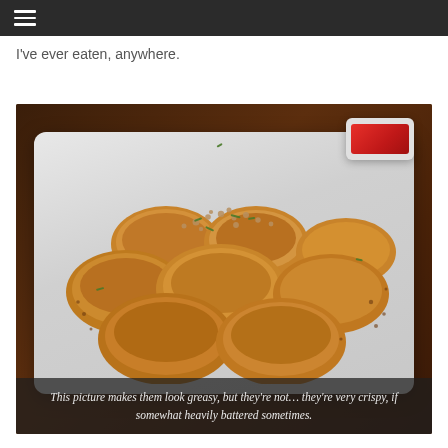≡
I've ever eaten, anywhere.
[Figure (photo): A plate of crispy fried chicken pieces topped with minced garlic and green chili, served on a white square plate with a small dish of red dipping sauce in the background, on a dark wood table.]
This picture makes them look greasy, but they're not… they're very crispy, if somewhat heavily battered sometimes.